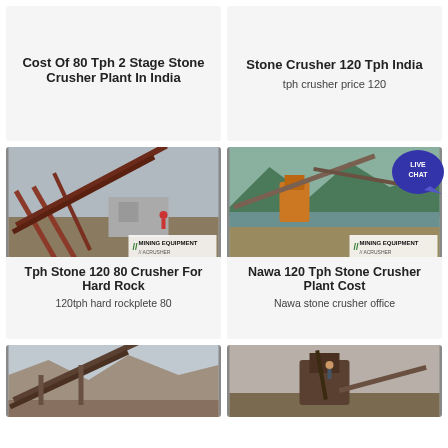Cost Of 80 Tph 2 Stage Stone Crusher Plant In India
Stone Crusher 120 Tph India
tph crusher price 120
[Figure (photo): Mining equipment - stone crusher conveyor plant facility with red-painted steel framework structures and gravel ground]
Tph Stone 120 80 Crusher For Hard Rock
120tph hard rockplete 80
[Figure (photo): Mining equipment - stone crusher plant near river with mountains in background, orange machinery and conveyor belts]
Nawa 120 Tph Stone Crusher Plant Cost
Nawa stone crusher office
[Figure (photo): Stone crusher plant with conveyor belt on rocky hillside quarry]
[Figure (photo): Stone crusher plant with large crusher machine and workers on industrial site]